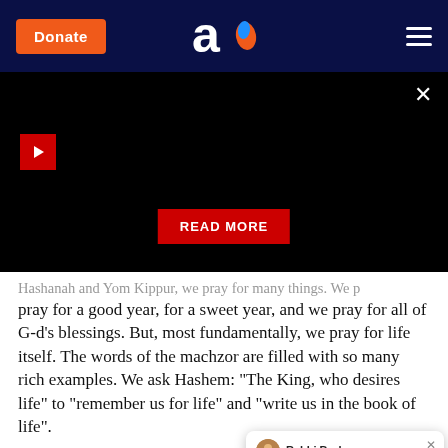Aish.com — Donate button, logo, hamburger menu
[Figure (screenshot): Black video player area with play button (red), close X button, and red READ MORE button]
Hashanah and Yom Kippur, we pray for many things. We pray for a good year, for a sweet year, and we pray for all of G-d's blessings. But, most fundamentally, we pray for life itself. The words of the machzor are filled with so many rich examples. We ask Hashem: "The King, who desires life" to "remember us for life" and "write us in the book of life".
Chayim, chayim, chayim. Life, life, life again - that is what we pray for. Beca